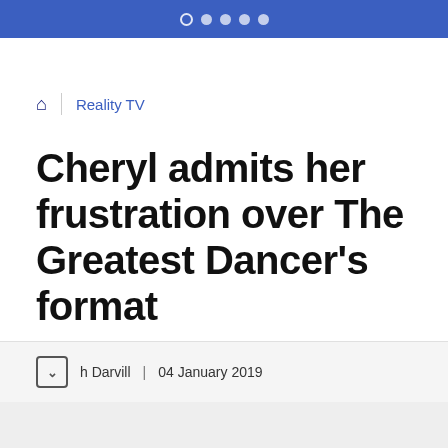● ● ● ●
Reality TV
Cheryl admits her frustration over The Greatest Dancer's format
h Darvill  |  04 January 2019